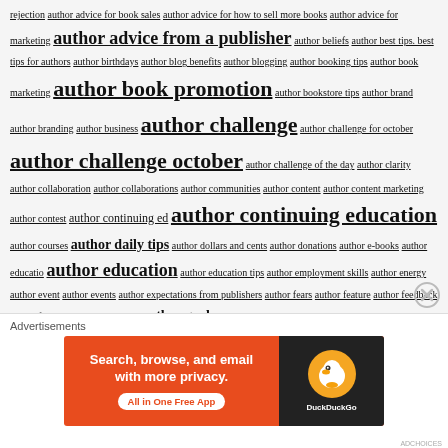rejection author advice for book sales author advice for how to sell more books author advice for marketing author advice from a publisher author beliefs author best tips. best tips for authors author birthdays author blog benefits author blogging author booking tips author book marketing author book promotion author bookstore tips author brand author branding author business author challenge author challenge for october author challenge october author challenge of the day author clarity author collaboration author collaborations author communities author content author content marketing author contest author continuing ed author continuing education author courses author daily tips author dollars and cents author donations author e-books author educatio author education author education tips author employment skills author energy author event author events author expectations from publishers author fears author feature author feedback author friends author giveaways author goals author growth mindset author guerilla marketing author how to author imposter syndrome author info author information author interview author interview on YouTube
[Figure (screenshot): DuckDuckGo advertisement banner: orange background with text 'Search, browse, and email with more privacy. All in One Free App' and DuckDuckGo logo on dark background]
Advertisements